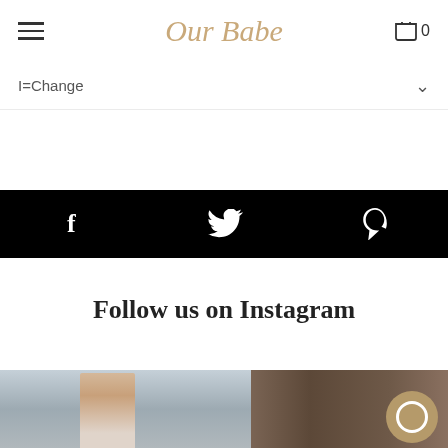Our Babe
I=Change
[Figure (infographic): Black social media bar with Facebook (f), Twitter (bird), and Pinterest (P) icons in white]
Follow us on Instagram
[Figure (photo): A young girl outdoors with trees in the background, photo strip at bottom of page]